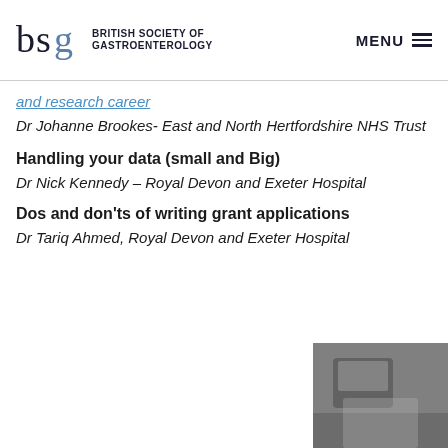BRITISH SOCIETY OF GASTROENTEROLOGY | MENU
and research career
Dr Johanne Brookes- East and North Hertfordshire NHS Trust
Handling your data (small and Big)
Dr Nick Kennedy – Royal Devon and Exeter Hospital
Dos and don'ts of writing grant applications
Dr Tariq Ahmed, Royal Devon and Exeter Hospital
[Figure (photo): Blurred photo at bottom right corner of page]